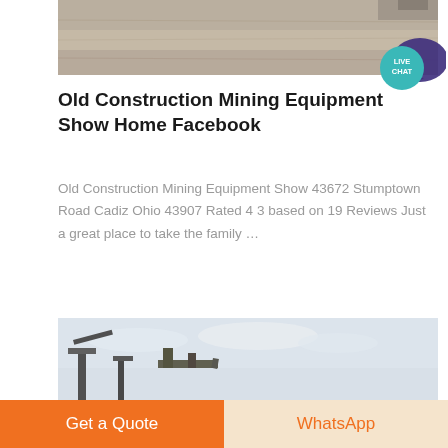[Figure (photo): Top photo showing a sandy/muddy terrain with a vehicle partially visible at the top right]
[Figure (infographic): Live Chat speech bubble icon in teal/purple colors with text LIVE CHAT]
Old Construction Mining Equipment Show Home Facebook
Old Construction Mining Equipment Show 43672 Stumptown Road Cadiz Ohio 43907 Rated 4 3 based on 19 Reviews Just a great place to take the family …
[Figure (photo): Bottom photo showing construction or mining equipment (crane-like machinery) against a cloudy sky]
Get a Quote
WhatsApp